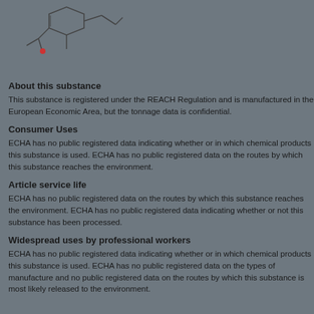[Figure (illustration): Chemical structure diagram of a molecule with ring structures, shown partially at the top of the page]
About this substance
This substance is registered under the REACH Regulation and is manufactured in the European Economic Area, but the tonnage data is confidential.
Consumer Uses
ECHA has no public registered data indicating whether or in which chemical products this substance is used. ECHA has no public registered data on the routes by which this substance reaches the environment.
Article service life
ECHA has no public registered data on the routes by which this substance reaches the environment. ECHA has no public registered data indicating whether or not this substance has been processed.
Widespread uses by professional workers
ECHA has no public registered data indicating whether or in which chemical products this substance is used. ECHA has no public registered data on the types of manufacture and no public registered data on the routes by which this substance is most likely released to the environment.